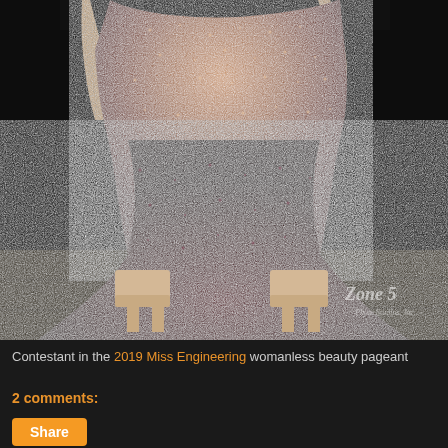[Figure (photo): A person wearing a sequined gown that transitions from rose gold at the top to deep burgundy/maroon at the bottom, with platform nude heels. The photo is taken against a dark background with a stone floor. Watermark reads 'Zone 5 Photo Studios, Inc.' in cursive in the lower right corner.]
Contestant in the 2019 Miss Engineering womanless beauty pageant
2 comments: